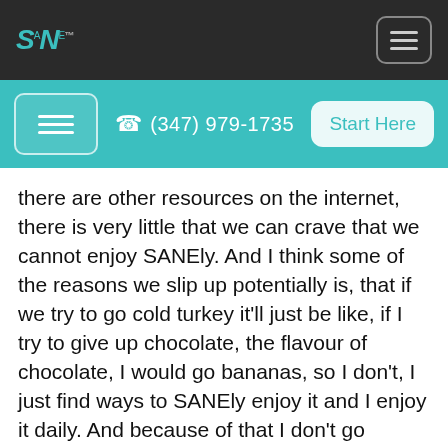SANE (logo) | menu button
menu | (347) 979-1735 | Start Here
there are other resources on the internet, there is very little that we can crave that we cannot enjoy SANEly. And I think some of the reasons we slip up potentially is, that if we try to go cold turkey it'll just be like, if I try to give up chocolate, the flavour of chocolate, I would go bananas, so I don't, I just find ways to SANEly enjoy it and I enjoy it daily. And because of that I don't go bananas because it's not, you know, you are not abstinent… Enjoy it, for example if you like chocolate there is a lot of recipes on the Smarter Science of Slim website, but for example 85% dark chocolate is way better than milk chocolate so maybe just switch to that